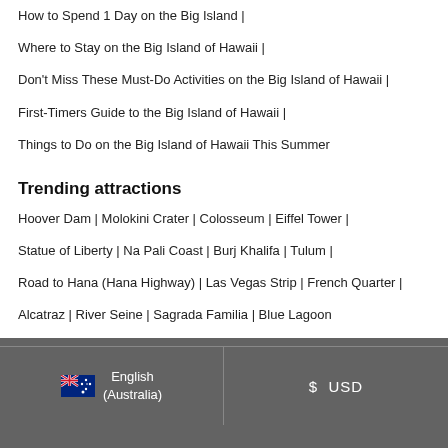How to Spend 1 Day on the Big Island |
Where to Stay on the Big Island of Hawaii |
Don't Miss These Must-Do Activities on the Big Island of Hawaii |
First-Timers Guide to the Big Island of Hawaii |
Things to Do on the Big Island of Hawaii This Summer
Trending attractions
Hoover Dam | Molokini Crater | Colosseum | Eiffel Tower |
Statue of Liberty | Na Pali Coast | Burj Khalifa | Tulum |
Road to Hana (Hana Highway) | Las Vegas Strip | French Quarter |
Alcatraz | River Seine | Sagrada Familia | Blue Lagoon
English (Australia)   $  USD